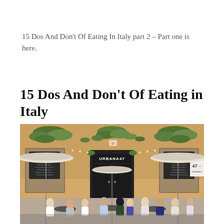15 Dos And Don't Of Eating In Italy part 2 – Part one is here.
15 Dos And Don't Of Eating in Italy
[Figure (photo): Outdoor seating at Urbana 47 restaurant in Rome, Italy. People dining at tables under large umbrellas in front of a warm ochre-colored building covered with ivy. The restaurant facade shows chalkboard menus and the name URBANA47 above the entrance.]